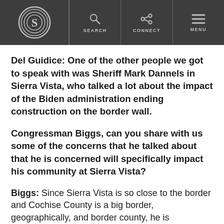[Figure (logo): Daily Signal / Heritage Foundation logo: circular S with concentric rings, navigation bar with Search, Connect, Menu icons]
Del Guidice: One of the other people we got to speak with was Sheriff Mark Dannels in Sierra Vista, who talked a lot about the impact of the Biden administration ending construction on the border wall.
Congressman Biggs, can you share with us some of the concerns that he talked about that he is concerned will specifically impact his community at Sierra Vista?
Biggs: Since Sierra Vista is so close to the border and Cochise County is a big border, geographically, and border county, he is concerned.